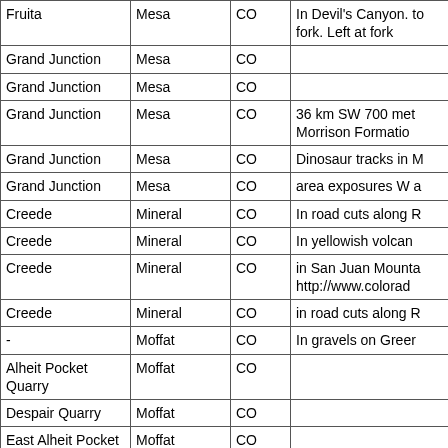| Location | County | State | Description |
| --- | --- | --- | --- |
| Fruita | Mesa | CO | In Devil's Canyon. to fork. Left at fork |
| Grand Junction | Mesa | CO |  |
| Grand Junction | Mesa | CO |  |
| Grand Junction | Mesa | CO | 36 km SW 700 met Morrison Formatio |
| Grand Junction | Mesa | CO | Dinosaur tracks in M |
| Grand Junction | Mesa | CO | area exposures W a |
| Creede | Mineral | CO | In road cuts along R |
| Creede | Mineral | CO | In yellowish volcan |
| Creede | Mineral | CO | in San Juan Mounta http://www.colorad |
| Creede | Mineral | CO | in road cuts along R |
| - | Moffat | CO | In gravels on Greer |
| Alheit Pocket Quarry | Moffat | CO |  |
| Despair Quarry | Moffat | CO |  |
| East Alheit Pocket Quarry | Moffat | CO |  |
| Foss Mile | Moffat | CO | Foss Mile E |